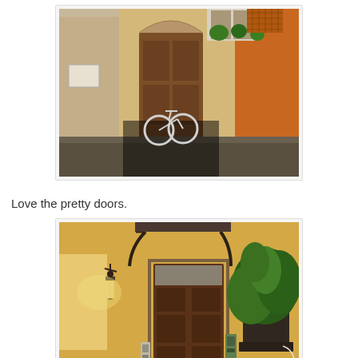[Figure (photo): Street scene with a bicycle leaning against a large wooden door set in a stone building with warm ochre and tan tones. Plants visible in the background.]
Love the pretty doors.
[Figure (photo): Close-up of a pretty wooden door on a yellow stucco building with a decorative metal canopy, wall lantern, intercom panel, and large potted green plant.]